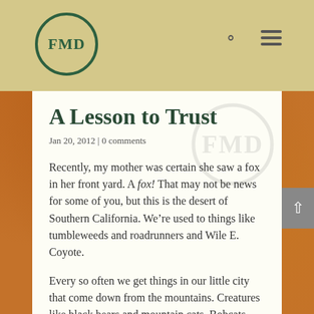FMD
A Lesson to Trust
Jan 20, 2012 | 0 comments
Recently, my mother was certain she saw a fox in her front yard. A fox! That may not be news for some of you, but this is the desert of Southern California. We’re used to things like tumbleweeds and roadrunners and Wile E. Coyote.
Every so often we get things in our little city that come down from the mountains. Creatures like black bears and mountain cats. Bobcats have